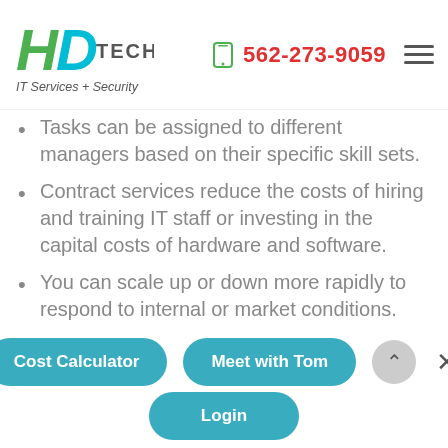[Figure (logo): HD Tech IT Services + Security logo with green and teal H and D letters, TECH text, phone number 562-273-9059 in red, and hamburger menu icon]
Tasks can be assigned to different managers based on their specific skill sets.
Contract services reduce the costs of hiring and training IT staff or investing in the capital costs of hardware and software.
You can scale up or down more rapidly to respond to internal or market conditions.
Outsourcing can provide key services such as customer support, external system monitoring and backups of key data and integrations.
Most companies can strengthen their security protocols by involving an outside pair of eyes to
Cost Calculator | Meet with Tom | Login (buttons)